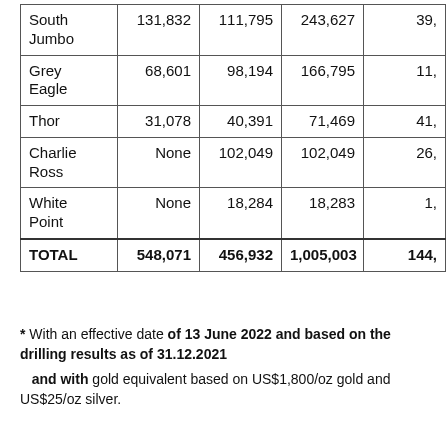|  | Col1 | Col2 | Col3 | Col4 |
| --- | --- | --- | --- | --- |
| South Jumbo | 131,832 | 111,795 | 243,627 | 39, |
| Grey Eagle | 68,601 | 98,194 | 166,795 | 11, |
| Thor | 31,078 | 40,391 | 71,469 | 41, |
| Charlie Ross | None | 102,049 | 102,049 | 26, |
| White Point | None | 18,284 | 18,283 | 1, |
| TOTAL | 548,071 | 456,932 | 1,005,003 | 144, |
* With an effective date of 13 June 2022 and based on the drilling results as of 31.12.2021 and with gold equivalent based on US$1,800/oz gold and US$25/oz silver.